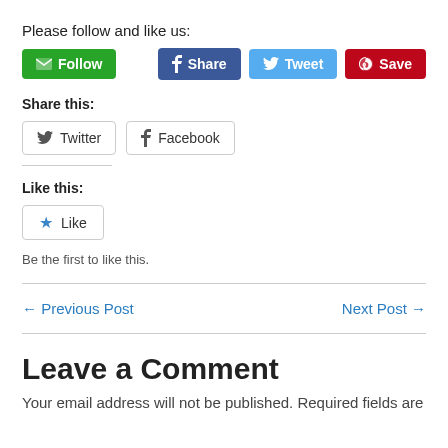Please follow and like us:
[Figure (infographic): Row of social media buttons: Follow (green), Share (Facebook blue), Tweet (Twitter blue), Save (Pinterest red)]
Share this:
[Figure (infographic): Two outlined share buttons: Twitter and Facebook]
Like this:
[Figure (infographic): Like button with blue star icon]
Be the first to like this.
← Previous Post
Next Post →
Leave a Comment
Your email address will not be published. Required fields are